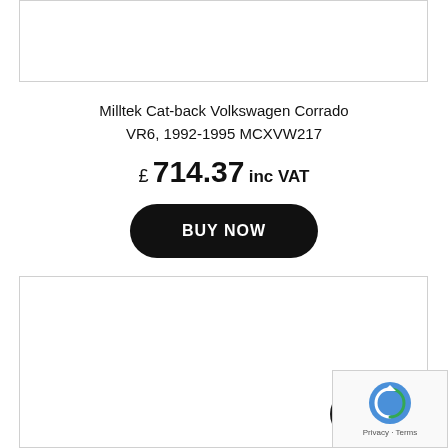[Figure (photo): Top product image placeholder box, white with light border]
Milltek Cat-back Volkswagen Corrado VR6, 1992-1995 MCXVW217
£ 714.37 inc VAT
BUY NOW
[Figure (photo): Bottom product image placeholder box, white with light border]